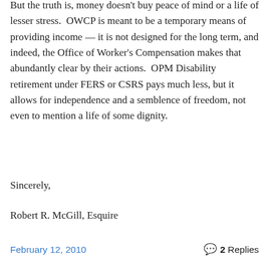But the truth is, money doesn't buy peace of mind or a life of lesser stress.  OWCP is meant to be a temporary means of providing income — it is not designed for the long term, and indeed, the Office of Worker's Compensation makes that abundantly clear by their actions.  OPM Disability retirement under FERS or CSRS pays much less, but it allows for independence and a semblence of freedom, not even to mention a life of some dignity.
Sincerely,
Robert R. McGill, Esquire
February 12, 2010   2 Replies